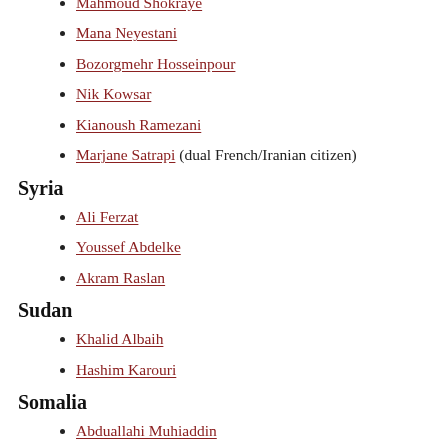Mahmoud Shokraye
Mana Neyestani
Bozorgmehr Hosseinpour
Nik Kowsar
Kianoush Ramezani
Marjane Satrapi (dual French/Iranian citizen)
Syria
Ali Ferzat
Youssef Abdelke
Akram Raslan
Sudan
Khalid Albaih
Hashim Karouri
Somalia
Abduallahi Muhiaddin